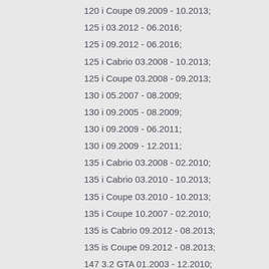120 i Coupe 09.2009 - 10.2013;
125 i 03.2012 - 06.2016;
125 i 09.2012 - 06.2016;
125 i Cabrio 03.2008 - 10.2013;
125 i Coupe 03.2008 - 09.2013;
130 i 05.2007 - 08.2009;
130 i 09.2005 - 08.2009;
130 i 09.2009 - 06.2011;
130 i 09.2009 - 12.2011;
135 i Cabrio 03.2008 - 02.2010;
135 i Cabrio 03.2010 - 10.2013;
135 i Coupe 03.2010 - 10.2013;
135 i Coupe 10.2007 - 02.2010;
135 is Cabrio 09.2012 - 08.2013;
135 is Coupe 09.2012 - 08.2013;
147 3.2 GTA 01.2003 - 12.2010;
156 2.5 24V 01.2002 - 10.2005;
156 2.5 24V 09.2000 - 12.2001;
156 2.5 V6 Sportwagon 01.2002 - 10.2005;
156 2.5 V6 Sportwagon 09.2000 - 12.2001;